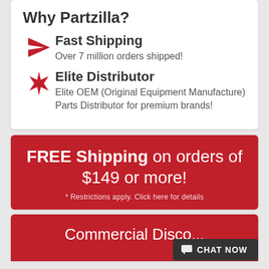Why Partzilla?
Fast Shipping — Over 7 million orders shipped!
Elite Distributor — Elite OEM (Original Equipment Manufacture) Parts Distributor for premium brands!
FREE Shipping on orders of $149 or more!
* Restrictions apply. Click here for details
Commercial Disco...
[Figure (screenshot): Chat Now button widget in bottom right corner]